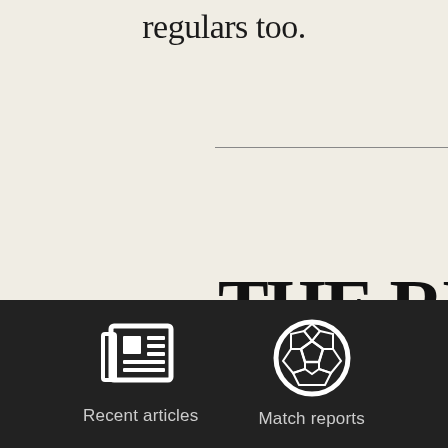regulars too.
THE RES OF LEAG
[Figure (infographic): Dark footer navigation bar with two icons: a newspaper icon labeled 'Recent articles' and a soccer ball icon labeled 'Match reports']
Recent articles
Match reports